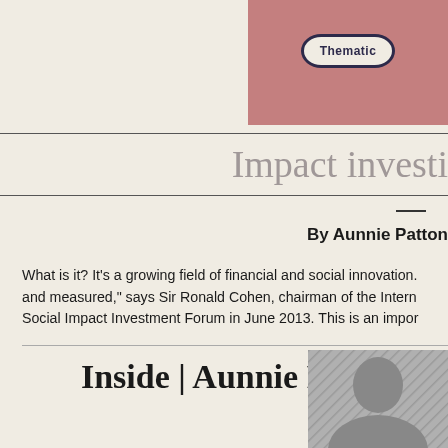[Figure (illustration): Pink/mauve colored box with a badge/label reading 'Thematic' in a rounded rectangle border with dark navy outline]
Impact investi
By Aunnie Patton
What is it? It's a growing field of financial and social innovation. and measured," says Sir Ronald Cohen, chairman of the International Social Impact Investment Forum in June 2013. This is an important
Inside | Aunnie Patt
[Figure (photo): Black and white photo of a person, partially visible at bottom right of page]